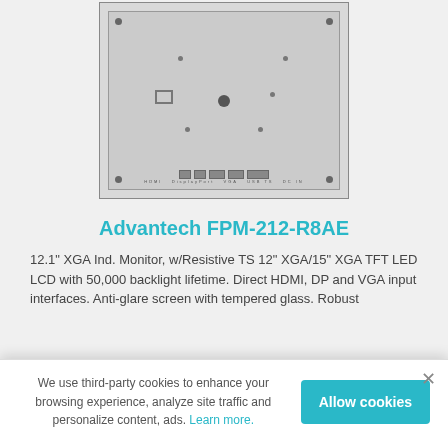[Figure (photo): Back panel of Advantech FPM-212-R8AE industrial monitor showing mounting holes, screws, and port connectors at the bottom edge]
Advantech FPM-212-R8AE
12.1" XGA Ind. Monitor, w/Resistive TS 12" XGA/15" XGA TFT LED LCD with 50,000 backlight lifetime. Direct HDMI, DP and VGA input interfaces. Anti-glare screen with tempered glass. Robust
We use third-party cookies to enhance your browsing experience, analyze site traffic and personalize content, ads. Learn more.